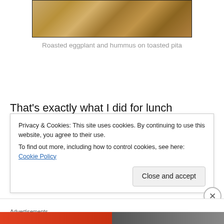[Figure (photo): Close-up photo of toasted pita bread with a golden-brown textured surface, shown in a framed/bordered box]
Roasted eggplant and hummus on toasted pita
That’s exactly what I did for lunch yesterday. Toasted pita cut into two half moons, each spread with Red Pepper Hummus, some roasted eggplant, and some greens lightly
Privacy & Cookies: This site uses cookies. By continuing to use this website, you agree to their use.
To find out more, including how to control cookies, see here: Cookie Policy
Close and accept
Advertisements